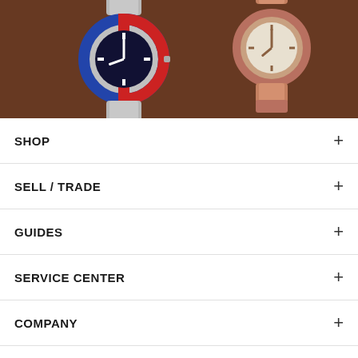[Figure (photo): Two luxury watches (a Rolex GMT-Master II with blue-red pepsi bezel and a rose gold/silver watch) on a brown leather background, photographed from above]
SHOP +
SELL / TRADE +
GUIDES +
SERVICE CENTER +
COMPANY +
SIGNATURE WATCHES
© 2022 SIGNATURE WATCHES
support@signaturewatches.com